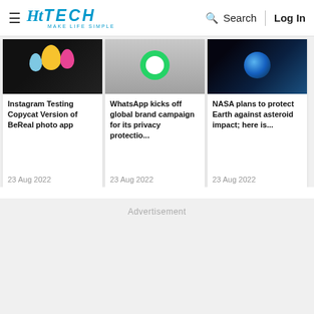HT TECH — MAKE LIFE SIMPLE | Search | Log In
[Figure (screenshot): News article card image 1 - dark background with colorful items (BeReal/Instagram related)]
Instagram Testing Copycat Version of BeReal photo app
23 Aug 2022
[Figure (screenshot): News article card image 2 - phone with WhatsApp green circle]
WhatsApp kicks off global brand campaign for its privacy protectio...
23 Aug 2022
[Figure (screenshot): News article card image 3 - NASA/Earth image with dark space background]
NASA plans to protect Earth against asteroid impact; here is...
23 Aug 2022
Advertisement